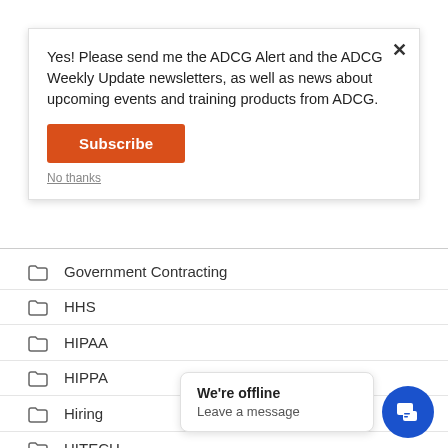Yes! Please send me the ADCG Alert and the ADCG Weekly Update newsletters, as well as news about upcoming events and training products from ADCG.
Government Contracting
HHS
HIPAA
HIPPA
Hiring
HITECH
Hybrid
Illinois
We're offline
Leave a message